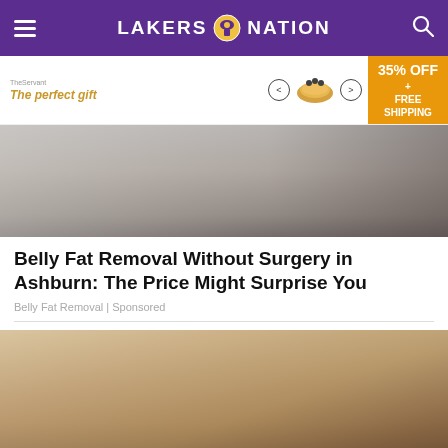LAKERS NATION
[Figure (photo): Advertisement banner: 'The perfect gift' with food product images and '35% OFF + FREE SHIPPING' label]
[Figure (photo): Medical/clinical photo showing a patient lying on a treatment bed with medical equipment nearby]
Belly Fat Removal Without Surgery in Ashburn: The Price Might Surprise You
Belly Fat Removal | Sponsored
[Figure (photo): Photo of a woman receiving liquid drops from a dropper into her mouth]